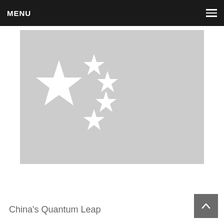MENU
[Figure (illustration): Grayscale image of the flag of China showing one large white star and four smaller white stars on a light gray background]
China's Quantum Leap